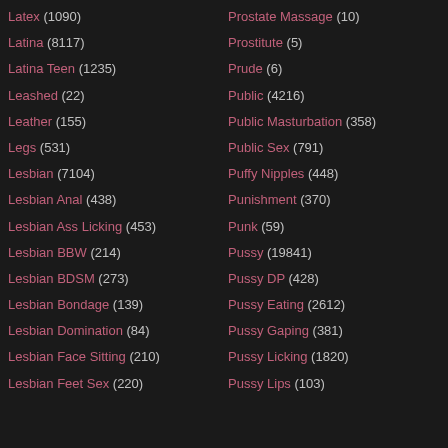Latex (1090)
Latina (8117)
Latina Teen (1235)
Leashed (22)
Leather (155)
Legs (531)
Lesbian (7104)
Lesbian Anal (438)
Lesbian Ass Licking (453)
Lesbian BBW (214)
Lesbian BDSM (273)
Lesbian Bondage (139)
Lesbian Domination (84)
Lesbian Face Sitting (210)
Lesbian Feet Sex (220)
Prostate Massage (10)
Prostitute (5)
Prude (6)
Public (4216)
Public Masturbation (358)
Public Sex (791)
Puffy Nipples (448)
Punishment (370)
Punk (59)
Pussy (19841)
Pussy DP (428)
Pussy Eating (2612)
Pussy Gaping (381)
Pussy Licking (1820)
Pussy Lips (103)